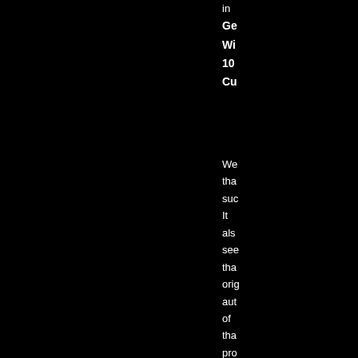Ge
Wi
10
Cu
We
tha
suc
It
als
see
tha
oric
aut
of
tha
pro
did
both
to
pub
it's
sou
coc
eve
afte
abe
it.
For
nov
my
sol